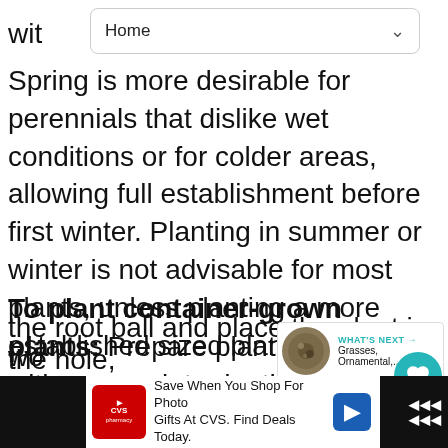wit Home
Spring is more desirable for perennials that dislike wet conditions or for colder areas, allowing full establishment before first winter. Planting in summer or winter is not advisable for most plants, unless planting a more established sized plant.
To plant container-grown plants: Prepare planting holes with appropriate depth and space between. Water the plant thoroughly and let the excess water drain before carefully removing from the container. Carefully the root ball and place the plant in the hole,
[Figure (screenshot): Ad banner: CVS Pharmacy ad - Save When You Shop For Photo Gifts At CVS. Find Deals Today.]